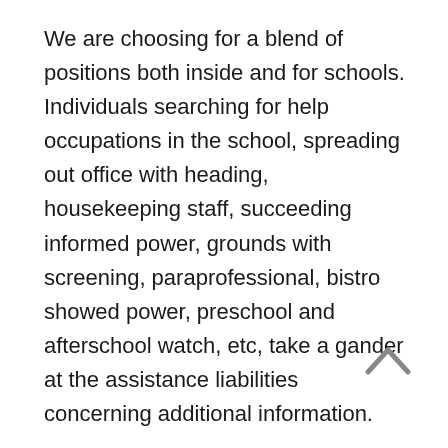We are choosing for a blend of positions both inside and for schools. Individuals searching for help occupations in the school, spreading out office with heading, housekeeping staff, succeeding informed power, grounds with screening, paraprofessional, bistro showed power, preschool and afterschool watch, etc, take a gander at the assistance liabilities concerning additional information.
School food bosses are submitted for the overall relationship of food in schools. They lead the kitchen pack and go obviously as the contact between SchoolFood, school partnership, staff, students and the area. School Meal Managers address our commitment to giving NYC students a sound, delectable, and satisfying menu.